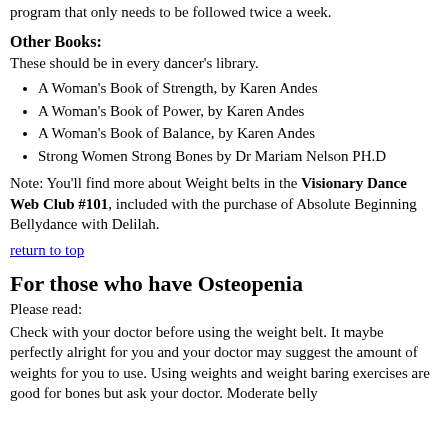program that only needs to be followed twice a week.
Other Books:
These should be in every dancer's library.
A Woman's Book of Strength, by Karen Andes
A Woman's Book of Power, by Karen Andes
A Woman's Book of Balance, by Karen Andes
Strong Women Strong Bones by Dr Mariam Nelson PH.D
Note: You'll find more about Weight belts in the Visionary Dance Web Club #101, included with the purchase of Absolute Beginning Bellydance with Delilah.
return to top
For those who have Osteopenia
Please read:
Check with your doctor before using the weight belt. It maybe perfectly alright for you and your doctor may suggest the amount of weights for you to use. Using weights and weight baring exercises are good for bones but ask your doctor. Moderate belly